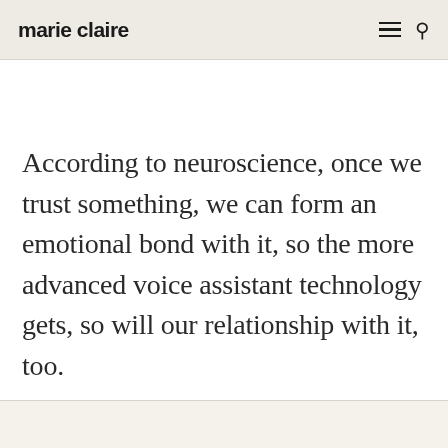marie claire
According to neuroscience, once we trust something, we can form an emotional bond with it, so the more advanced voice assistant technology gets, so will our relationship with it, too.